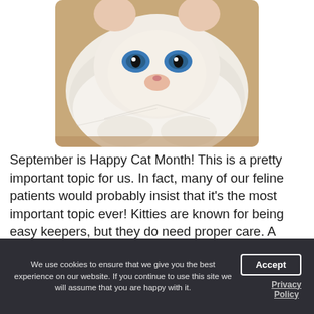[Figure (photo): Close-up photo of a white cat with bright blue eyes, lying on its back looking up at the camera, with fluffy white fur visible.]
September is Happy Cat Month! This is a pretty important topic for us. In fact, many of our feline patients would probably insist that it's the most important topic ever! Kitties are known for being easy keepers, but they do need proper care. A York, PA vet lists nine things that will keep Fluffy happy,
We use cookies to ensure that we give you the best experience on our website. If you continue to use this site we will assume that you are happy with it.